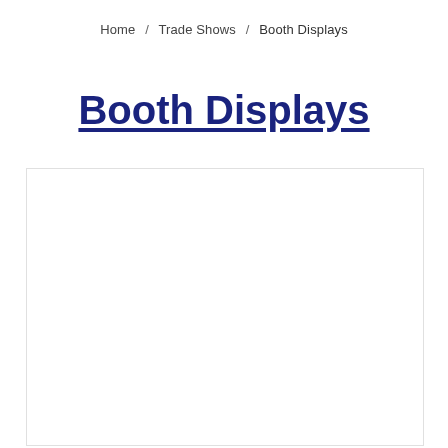Home / Trade Shows / Booth Displays
Booth Displays
[Figure (other): Empty white content box with light border, placeholder area for booth display content]